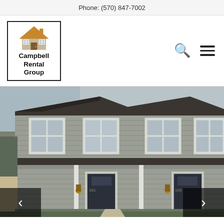Phone: (570) 847-7002
[Figure (logo): Campbell Rental Group logo with house icon]
[Figure (photo): Exterior photo of a two-story duplex house with gray siding, dark roof, front porch, two dark-colored front doors, and exterior lights. Navigation arrows (< >) overlaid at bottom left and right.]